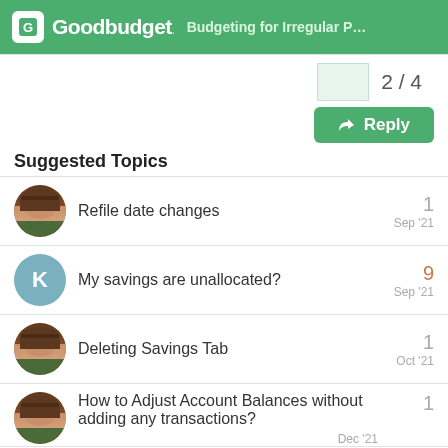Goodbudget — Budgeting for Irregular Pr...
2 / 4
Reply
Suggested Topics
Refile date changes
1
Sep '21
My savings are unallocated?
9
Sep '21
Deleting Savings Tab
1
Oct '21
How to Adjust Account Balances without adding any transactions?
1
Dec '21